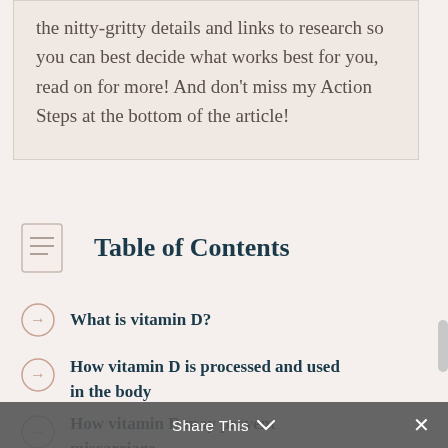the nitty-gritty details and links to research so you can best decide what works best for you, read on for more! And don't miss my Action Steps at the bottom of the article!
Table of Contents
What is vitamin D?
How vitamin D is processed and used in the body
How vitamin D may prevent miscarriage
Share This